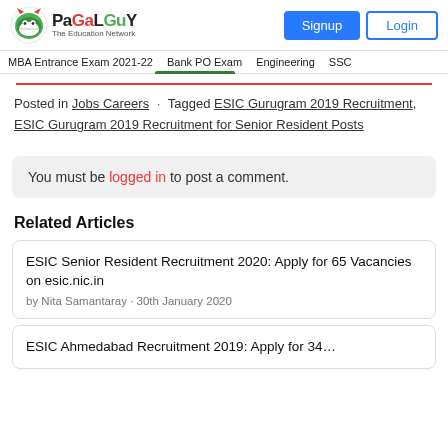PaGaLGuY - The Education Network | Signup | Login
MBA Entrance Exam 2021-22 · Bank PO Exam · Engineering · SSC
Posted in Jobs Careers · Tagged ESIC Gurugram 2019 Recruitment, ESIC Gurugram 2019 Recruitment for Senior Resident Posts
You must be logged in to post a comment.
Related Articles
ESIC Senior Resident Recruitment 2020: Apply for 65 Vacancies on esic.nic.in
by Nita Samantaray · 30th January 2020
ESIC Ahmedabad Recruitment 2019: Apply for 34...